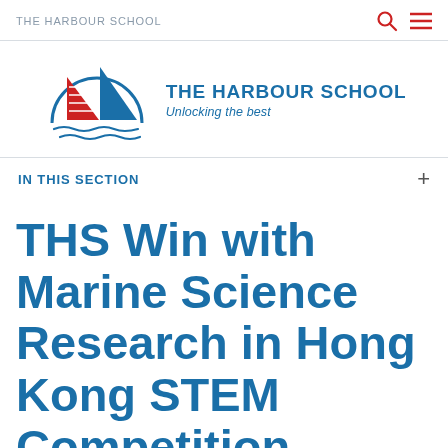THE HARBOUR SCHOOL
[Figure (logo): The Harbour School logo: a circular emblem with a blue arc/sail and red junk sail, with blue wave lines at the bottom. Next to it: 'THE HARBOUR SCHOOL' in bold blue, 'Unlocking the best' in italic blue below.]
IN THIS SECTION
THS Win with Marine Science Research in Hong Kong STEM Competition